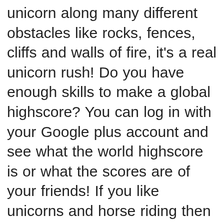unicorn along many different obstacles like rocks, fences, cliffs and walls of fire, it's a real unicorn rush! Do you have enough skills to make a global highscore? You can log in with your Google plus account and see what the world highscore is or what the scores are of your friends! If you like unicorns and horse riding then you should download this little unicorn runner game, because in this game the unicorns and the horse riding is combined in one game. You are the princess and you need to run, jump, pace and dash with your unicorn and collect as many hearts as you can to get the best highscore!GameplayMy little unicorn runner 3D game is easy to play. At the beginning of the game there will be a few instructions so you will